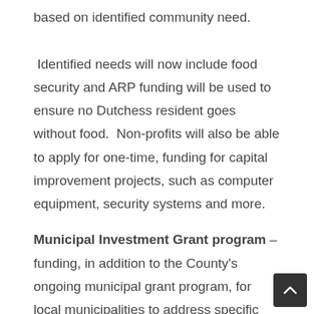based on identified community need.  Identified needs will now include food security and ARP funding will be used to ensure no Dutchess resident goes without food.  Non-profits will also be able to apply for one-time, funding for capital improvement projects, such as computer equipment, security systems and more.
Municipal Investment Grant program – funding, in addition to the County's ongoing municipal grant program, for local municipalities to address specific one-time needs including public safety equipment, park